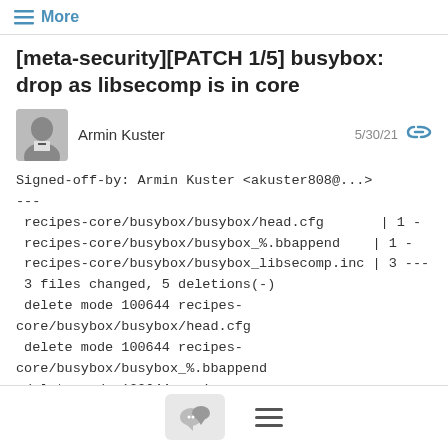≡ More
[meta-security][PATCH 1/5] busybox: drop as libsecomp is in core
Armin Kuster  5/30/21
Signed-off-by: Armin Kuster <akuster808@...>
---
 recipes-core/busybox/busybox/head.cfg       | 1 -
 recipes-core/busybox/busybox_%.bbappend    | 1 -
 recipes-core/busybox/busybox_libsecomp.inc | 3 ---
 3 files changed, 5 deletions(-)
 delete mode 100644 recipes-core/busybox/busybox/head.cfg
 delete mode 100644 recipes-core/busybox/busybox_%.bbappend
 delete mode 100644 recipes-core/busybox/busybox_libsecomp.inc